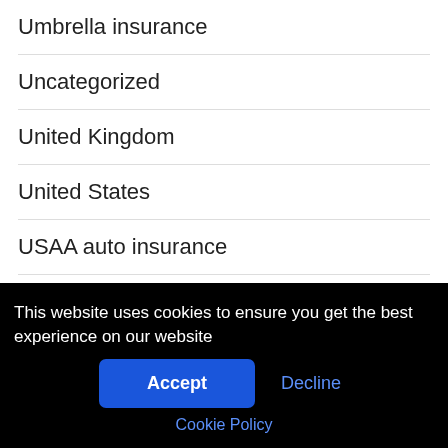Umbrella insurance
Uncategorized
United Kingdom
United States
USAA auto insurance
Valid driver's license
Vehicle insurance
This website uses cookies to ensure you get the best experience on our website
Accept
Decline
Cookie Policy